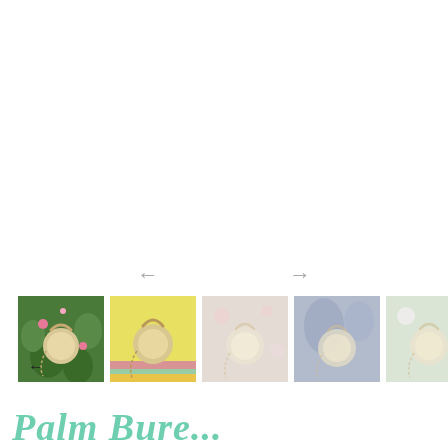[Figure (screenshot): Navigation arrows (left and right) for an image carousel, displayed in gray]
[Figure (screenshot): A row of 5 product thumbnail images showing woven/rattan circular handbags in various settings. The first thumbnail is fully visible (colorful floral background), the second has a yellow background, the third through fifth are faded/greyed out. Navigation arrows appear on the first and last thumbnails.]
Palm Bure...